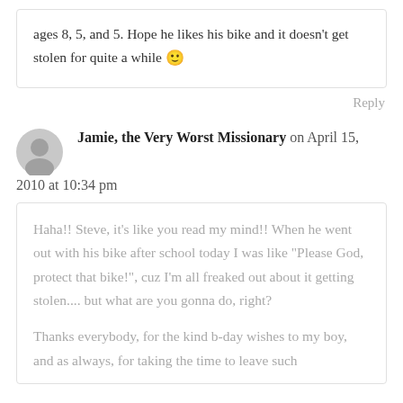ages 8, 5, and 5. Hope he likes his bike and it doesn't get stolen for quite a while 🙂
Reply
Jamie, the Very Worst Missionary on April 15, 2010 at 10:34 pm
Haha!! Steve, it's like you read my mind!! When he went out with his bike after school today I was like "Please God, protect that bike!", cuz I'm all freaked out about it getting stolen.... but what are you gonna do, right?
Thanks everybody, for the kind b-day wishes to my boy, and as always, for taking the time to leave such